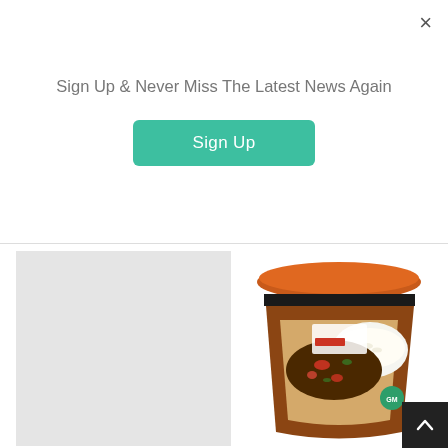Sign Up & Never Miss The Latest News Again
[Figure (screenshot): Green teal Sign Up button]
[Figure (photo): Omnipork Instant Meal Cup product in a brown cup container with orange lid, showing rice and plant-based meat filling]
Commenting on the launch of the Omnipork Instant Meal Cup products in Taiwan's second-largest chain of convenience stores, Green Monday founder and CEO David Yeung said: “Introducing plant-based instant cup meals in...